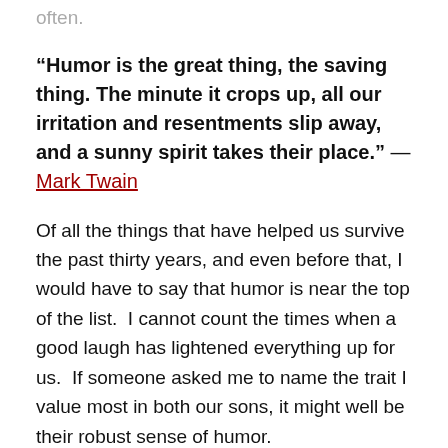often.
“Humor is the great thing, the saving thing. The minute it crops up, all our irritation and resentments slip away, and a sunny spirit takes their place.” — Mark Twain
Of all the things that have helped us survive the past thirty years, and even before that, I would have to say that humor is near the top of the list.  I cannot count the times when a good laugh has lightened everything up for us.  If someone asked me to name the trait I value most in both our sons, it might well be their robust sense of humor.
Years ago when the boys and I were visiting my parents, we decided to take the MARTA train into Atlanta for some reason or other.  I have forgotten what we did in town that day; what I remember most is something memorable that